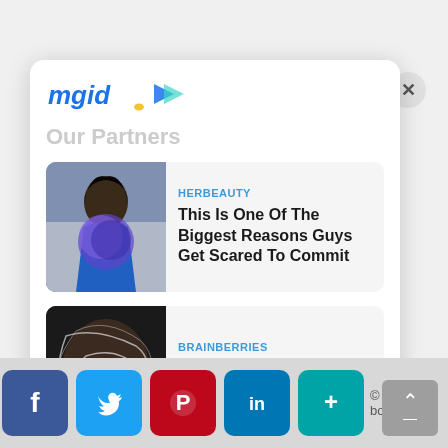[Figure (screenshot): MGID logo with blue italic text 'mgid' and a play button arrow icon in blue and yellow]
Our Partners
[Figure (photo): Woman in blue dress holding blue flower bouquet]
HERBEAUTY
This Is One Of The Biggest Reasons Guys Get Scared To Commit
[Figure (photo): Artistic portrait of a face with white swirling lines]
BRAINBERRIES
How Does Monkeypox Spread?
Privacy Policy
© 2022 bodhizazen
[Figure (infographic): Social media share icons: Facebook, Twitter, Pinterest, LinkedIn, and a plus/share button]